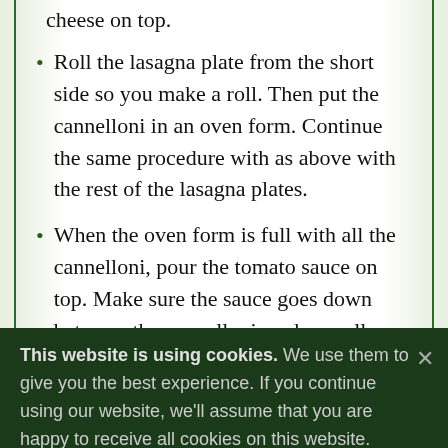cheese on top.
Roll the lasagna plate from the short side so you make a roll. Then put the cannelloni in an oven form. Continue the same procedure with as above with the rest of the lasagna plates.
When the oven form is full with all the cannelloni, pour the tomato sauce on top. Make sure the sauce goes down between the cannelloni, and as well on the sides. If you have some mozzarella cheese left sprinkle it evenly on top of the cannelloni together with the grated cheese.
This website is using cookies. We use them to give you the best experience. If you continue using our website, we'll assume that you are happy to receive all cookies on this website. Continue  Learn more